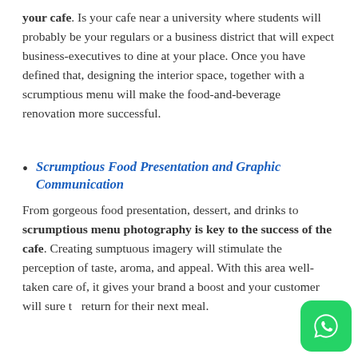your cafe. Is your cafe near a university where students will probably be your regulars or a business district that will expect business-executives to dine at your place. Once you have defined that, designing the interior space, together with a scrumptious menu will make the food-and-beverage renovation more successful.
Scrumptious Food Presentation and Graphic Communication
From gorgeous food presentation, dessert, and drinks to scrumptious menu photography is key to the success of the cafe. Creating sumptuous imagery will stimulate the perception of taste, aroma, and appeal. With this area well-taken care of, it gives your brand a boost and your customer will sure to return for their next meal.